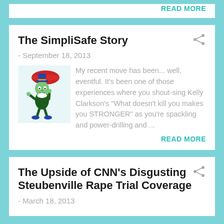READ MORE
The SimpliSafe Story
- September 18, 2013
[Figure (illustration): Jiminy Cricket cartoon character holding a red umbrella, wearing a top hat and blue coat]
My recent move has been... well, eventful. It's been one of those experiences where you shout-sing Kelly Clarkson's "What doesn't kill you makes you STRONGER" as you're spackling and power-drilling and ...
READ MORE
The Upside of CNN's Disgusting Steubenville Rape Trial Coverage
- March 18, 2013